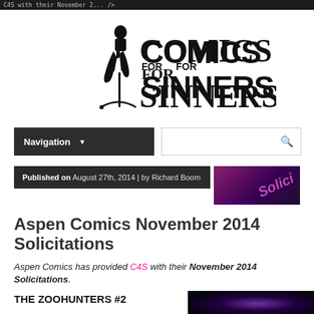C4S with their November 2... />
[Figure (logo): Comics For Sinners logo with stylized text and figure illustration]
Navigation
Published on August 27th, 2014 | by Richard Boom
Aspen Comics November 2014 Solicitations
Aspen Comics has provided C4S with their November 2014 Solicitations.
THE ZOOHUNTERS #2
[Figure (photo): Comic book cover thumbnail showing dark space/sci-fi imagery]